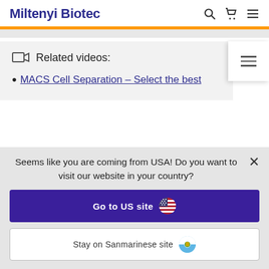Miltenyi Biotec
Related videos:
MACS Cell Separation – Select the best
Seems like you are coming from USA! Do you want to visit our website in your country?
Go to US site
Stay on Sanmarinese site